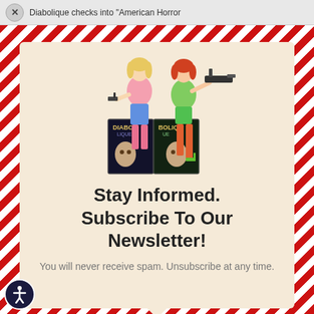Diabolique checks into “American Horror
[Figure (illustration): Two illustrated women holding weapons (one with a pistol, one with a submachine gun) standing over two Diabolique magazine covers]
Stay Informed. Subscribe To Our Newsletter!
You will never receive spam. Unsubscribe at any time.